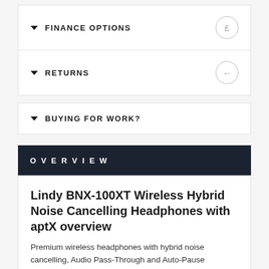FINANCE OPTIONS
RETURNS
BUYING FOR WORK?
OVERVIEW
Lindy BNX-100XT Wireless Hybrid Noise Cancelling Headphones with aptX overview
Premium wireless headphones with hybrid noise cancelling, Audio Pass-Through and Auto-Pause technology for a modern, feature-rich listening experience